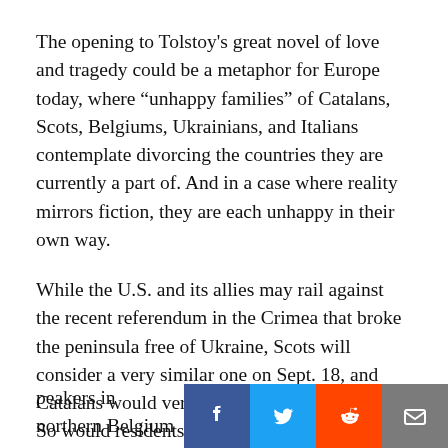The opening to Tolstoy's great novel of love and tragedy could be a metaphor for Europe today, where “unhappy families” of Catalans, Scots, Belgiums, Ukrainians, and Italians contemplate divorcing the countries they are currently a part of. And in a case where reality mirrors fiction, they are each unhappy in their own way.
While the U.S. and its allies may rail against the recent referendum in the Crimea that broke the peninsula free of Ukraine, Scots will consider a very similar one on Sept. 18, and Catalans would very much like to do the same. So would residents of South Tyrol, and Flemish speakers in northern Belgium.
On the surface, many of these succession movements look like rich regions trying to free themselves from poor ones, but, while there is some truth in that, it is overly simplistic. Wealthier Flemish speakers in northern Belgium would indeed like to separate from